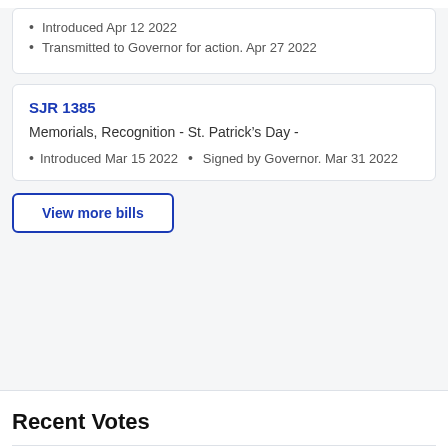Introduced Apr 12 2022
Transmitted to Governor for action. Apr 27 2022
SJR 1385
Memorials, Recognition - St. Patrick's Day -
Introduced Mar 15 2022
Signed by Governor. Mar 31 2022
View more bills
Recent Votes